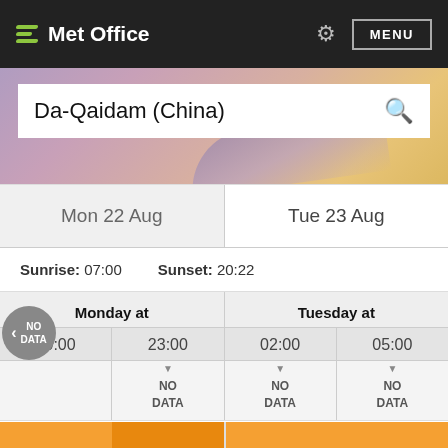Met Office
Da-Qaidam (China)
Mon 22 Aug | Tue 23 Aug
Sunrise: 07:00   Sunset: 20:22
| Monday at |  | Tuesday at |  |
| --- | --- | --- | --- |
| 20:00 | 23:00 | 02:00 | 05:00 |
| NO DATA | NO DATA | NO DATA | NO DATA |
Temperature ºC